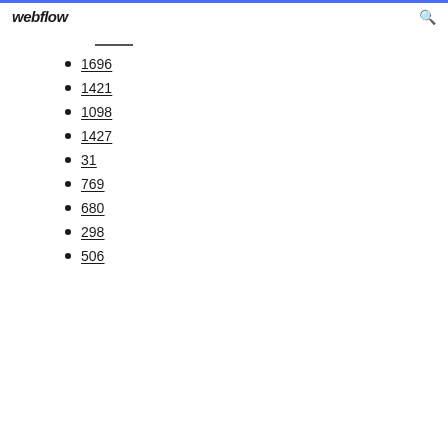webflow
1696
1421
1098
1427
31
769
680
298
506